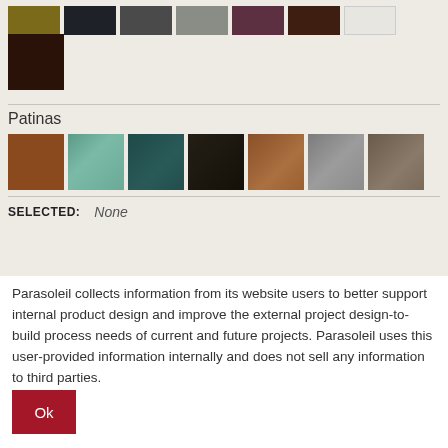[Figure (other): Row of color swatches: olive/gold, dark navy, dark gray, medium gray, dark mauve, dark brown, light gray/white]
[Figure (other): Single large dark brown color swatch]
Patinas
[Figure (other): Row of patina swatches: rust/brown, teal/verdigris, dark teal, dark brown/black, copper brown, light gray, dark gray-brown]
SELECTED:   None
Parasoleil collects information from its website users to better support internal product design and improve the external project design-to-build process needs of current and future projects. Parasoleil uses this user-provided information internally and does not sell any information to third parties.
Ok